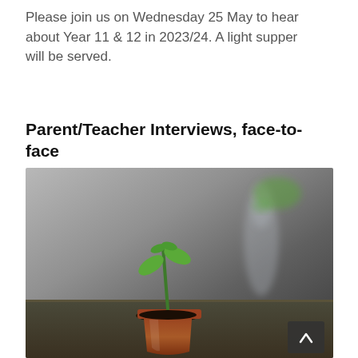Please join us on Wednesday 25 May to hear about Year 11 & 12 in 2023/24. A light supper will be served.
Parent/Teacher Interviews, face-to-face
[Figure (photo): Photo of a small green seedling growing in a terracotta pot on a table, with a blurred plant in a glass vase in the background. A scroll-to-top arrow button is visible in the bottom-right corner of the image.]